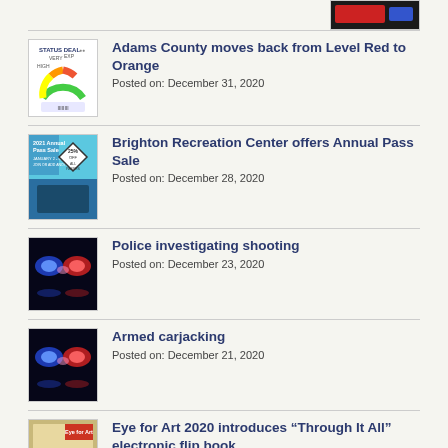[Figure (screenshot): Top right thumbnail image (partial, dark)]
Adams County moves back from Level Red to Orange
Posted on: December 31, 2020
Brighton Recreation Center offers Annual Pass Sale
Posted on: December 28, 2020
Police investigating shooting
Posted on: December 23, 2020
Armed carjacking
Posted on: December 21, 2020
Eye for Art 2020 introduces “Through It All” electronic flip book
Posted on: December 10, 2020